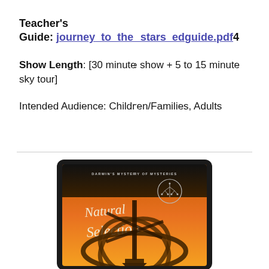Teacher's Guide: journey_to_the_stars_edguide.pdf4
Show Length: [30 minute show + 5 to 15 minute sky tour]
Intended Audience: Children/Families, Adults
[Figure (illustration): Tablet device displaying a poster for 'Natural Selection – Darwin's Mystery of Mysteries' with cursive title text on an orange gradient background with a large mechanical/armillary sphere structure.]